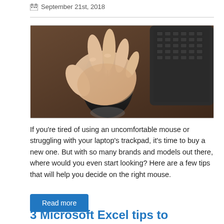September 21st, 2018
[Figure (photo): A hand resting on a black computer mouse on a desk with a laptop keyboard visible in the background]
If you're tired of using an uncomfortable mouse or struggling with your laptop's trackpad, it's time to buy a new one. But with so many brands and models out there, where would you even start looking? Here are a few tips that will help you decide on the right mouse.
Read more
3 Microsoft Excel tips to